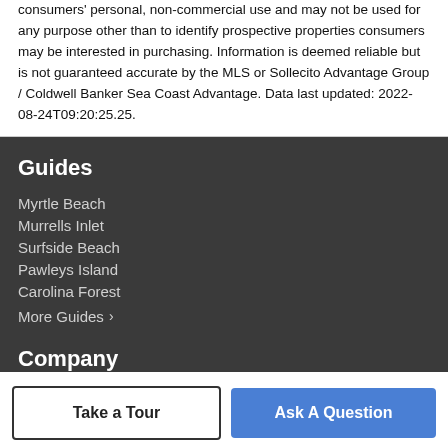consumers' personal, non-commercial use and may not be used for any purpose other than to identify prospective properties consumers may be interested in purchasing. Information is deemed reliable but is not guaranteed accurate by the MLS or Sollecito Advantage Group / Coldwell Banker Sea Coast Advantage. Data last updated: 2022-08-24T09:20:25.25.
Guides
Myrtle Beach
Murrells Inlet
Surfside Beach
Pawleys Island
Carolina Forest
More Guides ›
Company
Take a Tour
Ask A Question